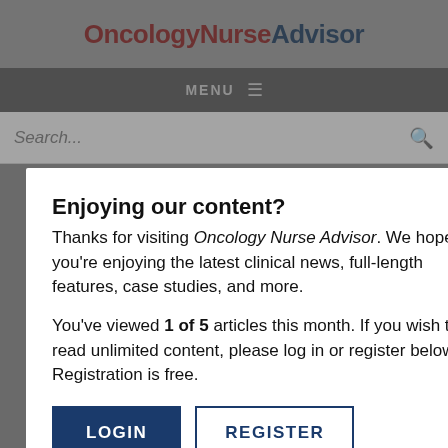OncologyNurseAdvisor
MENU
Search...
Enjoying our content?
Thanks for visiting Oncology Nurse Advisor. We hope you’re enjoying the latest clinical news, full-length features, case studies, and more.
You’ve viewed 1 of 5 articles this month. If you wish to read unlimited content, please log in or register below. Registration is free.
LOGIN
REGISTER
NEXT
A roun